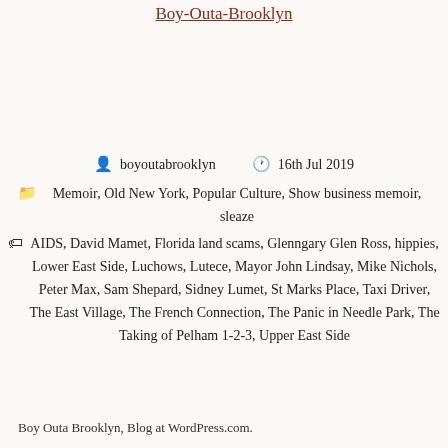Boy-Outa-Brooklyn
boyoutabrooklyn   16th Jul 2019
Memoir, Old New York, Popular Culture, Show business memoir, sleaze
AIDS, David Mamet, Florida land scams, Glenngary Glen Ross, hippies, Lower East Side, Luchows, Lutece, Mayor John Lindsay, Mike Nichols, Peter Max, Sam Shepard, Sidney Lumet, St Marks Place, Taxi Driver, The East Village, The French Connection, The Panic in Needle Park, The Taking of Pelham 1-2-3, Upper East Side
Boy Outa Brooklyn, Blog at WordPress.com.